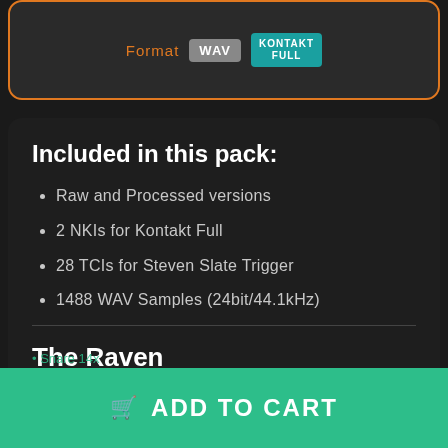[Figure (screenshot): Top product format bar showing WAV and KONTAKT FULL badges with orange border]
Included in this pack:
Raw and Processed versions
2 NKIs for Kontakt Full
28 TCIs for Steven Slate Trigger
1488 WAV Samples (24bit/44.1kHz)
The Raven
Shells Included:
KICK NOT INCLUDED
Snare 14x